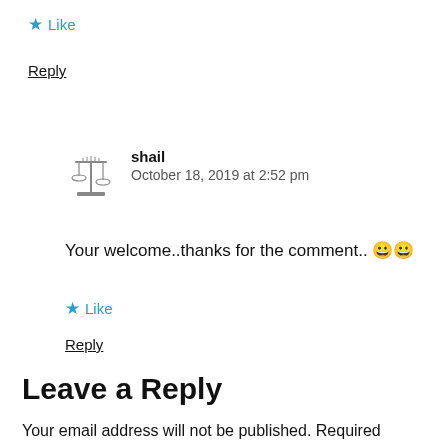★ Like
Reply
shail
October 18, 2019 at 2:52 pm
Your welcome..thanks for the comment.. 😀😀
★ Like
Reply
Leave a Reply
Your email address will not be published. Required